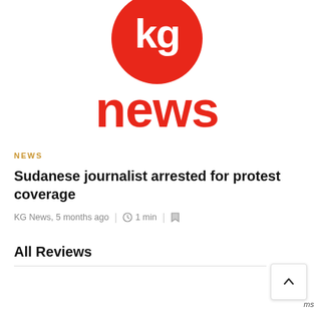[Figure (logo): KG News logo: red circle with white 'kg' letters, and bold red 'news' text below]
NEWS
Sudanese journalist arrested for protest coverage
KG News, 5 months ago | 1 min |
All Reviews